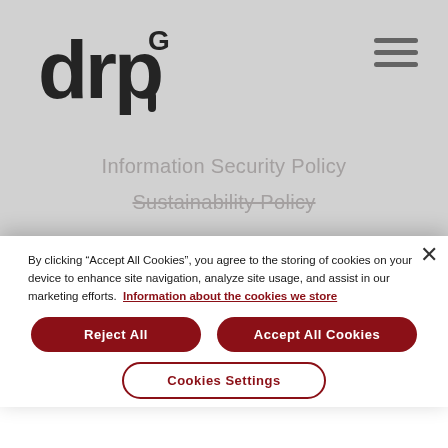[Figure (logo): drpg logo in dark gray/charcoal color, lowercase letters with superscript G]
[Figure (other): Hamburger menu icon (three horizontal lines) in gray on top right]
Information Security Policy
Sustainability Policy
By clicking “Accept All Cookies”, you agree to the storing of cookies on your device to enhance site navigation, analyze site usage, and assist in our marketing efforts.  Information about the cookies we store
Reject All
Accept All Cookies
Cookies Settings